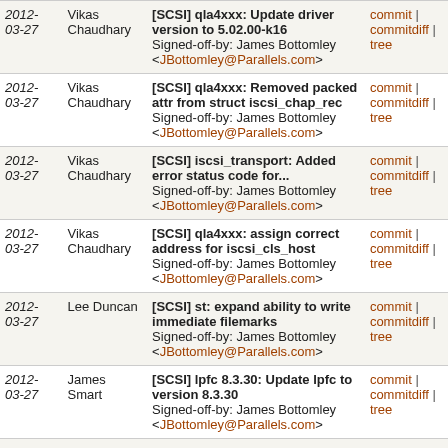| Date | Author | Commit | Links |
| --- | --- | --- | --- |
| 2012-03-27 | Vikas Chaudhary | [SCSI] qla4xxx: Update driver version to 5.02.00-k16
Signed-off-by: James Bottomley <JBottomley@Parallels.com> | commit | commitdiff | tree |
| 2012-03-27 | Vikas Chaudhary | [SCSI] qla4xxx: Removed packed attr from struct iscsi_chap_rec
Signed-off-by: James Bottomley <JBottomley@Parallels.com> | commit | commitdiff | tree |
| 2012-03-27 | Vikas Chaudhary | [SCSI] iscsi_transport: Added error status code for...
Signed-off-by: James Bottomley <JBottomley@Parallels.com> | commit | commitdiff | tree |
| 2012-03-27 | Vikas Chaudhary | [SCSI] qla4xxx: assign correct address for iscsi_cls_host
Signed-off-by: James Bottomley <JBottomley@Parallels.com> | commit | commitdiff | tree |
| 2012-03-27 | Lee Duncan | [SCSI] st: expand ability to write immediate filemarks
Signed-off-by: James Bottomley <JBottomley@Parallels.com> | commit | commitdiff | tree |
| 2012-03-27 | James Smart | [SCSI] lpfc 8.3.30: Update lpfc to version 8.3.30
Signed-off-by: James Bottomley <JBottomley@Parallels.com> | commit | commitdiff | tree |
| 2012-03-27 | James Smart | [SCSI] lpfc 8.3.30: Revert fix for Link Pull Causes...
Signed-off-by: James Bottomley <JBottomley@Parallels.com> | commit | commitdiff | tree |
| 2012-03-27 | James Smart | [SCSI] lpfc 8.3.30: Add lpfc_T10... | commit |